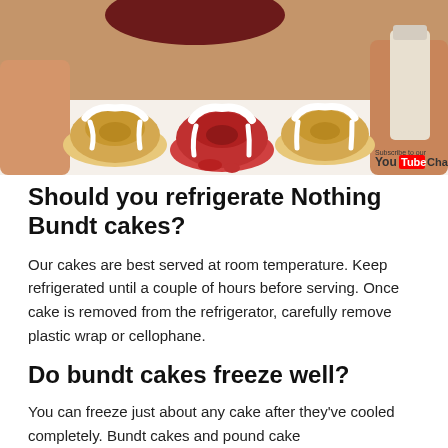[Figure (photo): Photo of several mini bundt cakes with white icing/glaze drizzled on top, arranged on a white surface, with a person leaning over them in the background. A YouTube subscribe badge is visible in the bottom right corner of the image.]
Should you refrigerate Nothing Bundt cakes?
Our cakes are best served at room temperature. Keep refrigerated until a couple of hours before serving. Once cake is removed from the refrigerator, carefully remove plastic wrap or cellophane.
Do bundt cakes freeze well?
You can freeze just about any cake after they've cooled completely. Bundt cakes and pound cake